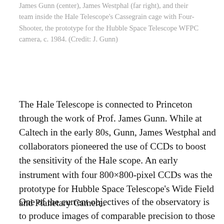James Gunn (center), James Westphal (far right), and their team inside the Hale Telescope's Cassegrain cage with Four-Shooter, the prototype for the Hubble Space Telescope WFPC camera, c. 1984. (Credit: J. Gunn)
The Hale Telescope is connected to Princeton through the work of Prof. James Gunn. While at Caltech in the early 80s, Gunn, James Westphal and collaborators pioneered the use of CCDs to boost the sensitivity of the Hale scope. An early instrument with four 800×800-pixel CCDs was the prototype for Hubble Space Telescope's Wide Field and Planetary Camera.
One of the current objectives of the observatory is to produce images of comparable precision to those of space telescopes for mapping the surface of Solar System